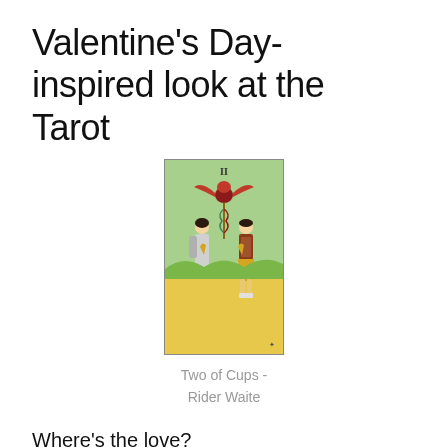Valentine's Day-inspired look at the Tarot
[Figure (illustration): Tarot card illustration: Two of Cups from the Rider Waite deck. Two figures face each other exchanging cups, with a winged lion and caduceus above them, on a green and yellow background.]
Two of Cups -
Rider Waite
Where's the love?
Like all other emotions, love has its place in the Tarot. The love expressed for being a...